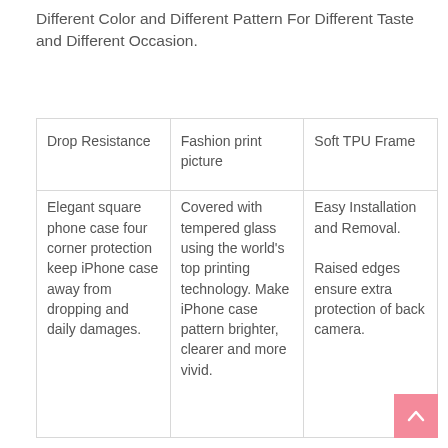Different Color and Different Pattern For Different Taste and Different Occasion.
| Drop Resistance | Fashion print picture | Soft TPU Frame |
| Elegant square phone case four corner protection keep iPhone case away from dropping and daily damages. | Covered with tempered glass using the world's top printing technology. Make iPhone case pattern brighter, clearer and more vivid. | Easy Installation and Removal.

Raised edges ensure extra protection of back camera. |